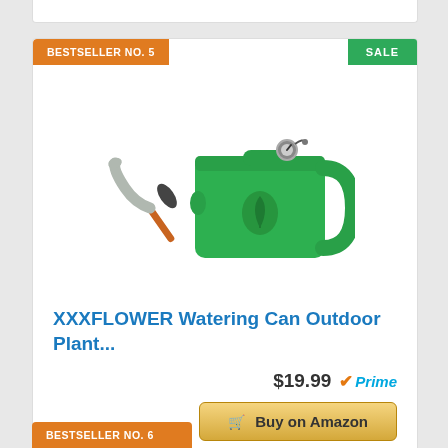BESTSELLER NO. 5
SALE
[Figure (photo): Green plastic watering can with a long gray spout and a small hand trowel beside it, on a white background.]
XXXFLOWER Watering Can Outdoor Plant...
$19.99 Prime
Buy on Amazon
BESTSELLER NO. 6